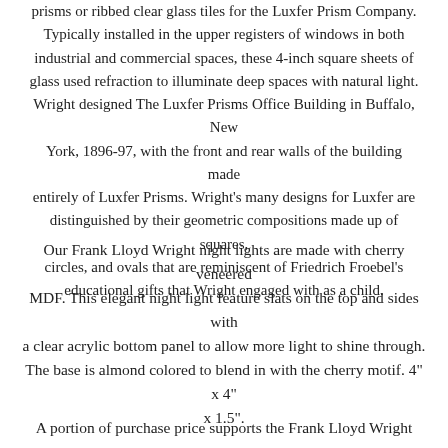prisms or ribbed clear glass tiles for the Luxfer Prism Company. Typically installed in the upper registers of windows in both industrial and commercial spaces, these 4-inch square sheets of glass used refraction to illuminate deep spaces with natural light. Wright designed The Luxfer Prisms Office Building in Buffalo, New York, 1896-97, with the front and rear walls of the building made entirely of Luxfer Prisms. Wright's many designs for Luxfer are distinguished by their geometric compositions made up of squares, circles, and ovals that are reminiscent of Friedrich Froebel's educational gifts that Wright engaged with as a child.
Our Frank Lloyd Wright night lights are made with cherry veneered MDF. This elegant night light feature slats on the top and sides with a clear acrylic bottom panel to allow more light to shine through. The base is almond colored to blend in with the cherry motif. 4" x 4" x 1.5".
A portion of purchase price supports the Frank Lloyd Wright